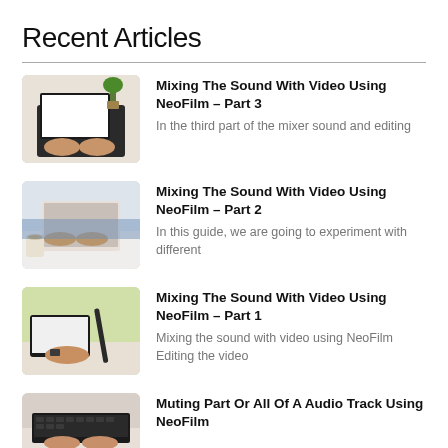Recent Articles
Mixing The Sound With Video Using NeoFilm – Part 3
In the third part of the mixer sound and editing
Mixing The Sound With Video Using NeoFilm – Part 2
In this guide, we are going to experiment with different
Mixing The Sound With Video Using NeoFilm – Part 1
Mixing the sound with video using NeoFilm Editing the video
Muting Part Or All Of A Audio Track Using NeoFilm